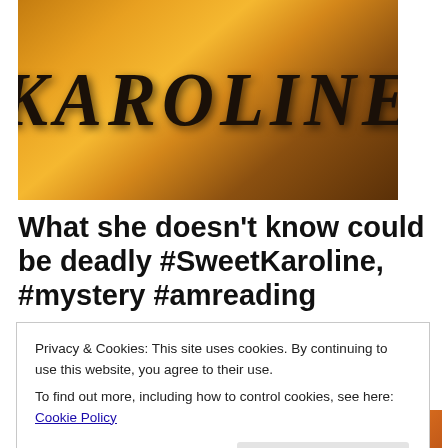[Figure (illustration): Book cover image showing the word KAROLINE in large dark serif italic letters against a warm orange-golden gradient background]
What she doesn't know could be deadly #SweetKaroline, #mystery #amreading
[Figure (illustration): Partial book cover with orange/brown background showing quote text and partial title letters]
Privacy & Cookies: This site uses cookies. By continuing to use this website, you agree to their use.
To find out more, including how to control cookies, see here: Cookie Policy
Close and accept